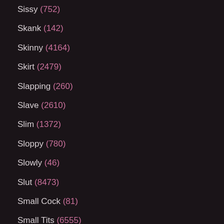Sissy (752)
Skank (142)
Skinny (4164)
Skirt (2479)
Slapping (260)
Slave (2610)
Slim (1372)
Sloppy (780)
Slowly (46)
Slut (8473)
Small Cock (81)
Small Tits (6555)
Smoking (483)
Smooth (67)
Smothering (161)
Snatch (149)